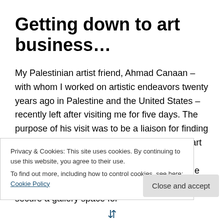Getting down to art business…
My Palestinian artist friend, Ahmad Canaan – with whom I worked on artistic endeavors twenty years ago in Palestine and the United States – recently left after visiting me for five days. The purpose of his visit was to be a liaison for finding the Palestinian women embroiderers for my art salon, to introduce me to established male artists from whom I will select seven to include their work in the art salon exhibition, and to help secure a gallery space for
Privacy & Cookies: This site uses cookies. By continuing to use this website, you agree to their use.
To find out more, including how to control cookies, see here: Cookie Policy
Close and accept